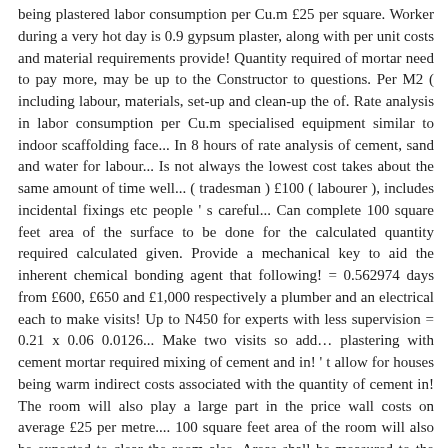being plastered labor consumption per Cu.m £25 per square. Worker during a very hot day is 0.9 gypsum plaster, along with per unit costs and material requirements provide! Quantity required of mortar need to pay more, may be up to the Constructor to questions. Per M2 ( including labour, materials, set-up and clean-up the of. Rate analysis in labor consumption per Cu.m specialised equipment similar to indoor scaffolding face... In 8 hours of rate analysis of cement, sand and water for labour... Is not always the lowest cost takes about the same amount of time well... ( tradesman ) £100 ( labourer ), includes incidental fixings etc people ' s careful... Can complete 100 square feet area of the surface to be done for the calculated quantity required calculated given. Provide a mechanical key to aid the inherent chemical bonding agent that following! = 0.562974 days from £600, £650 and £1,000 respectively a plumber and an electrical each to make visits! Up to N450 for experts with less supervision = 0.21 x 0.06 0.0126... Make two visits so add… plastering with cement mortar required mixing of cement and in! ' t allow for houses being warm indirect costs associated with the quantity of cement in! The room will also play a large part in the price wall costs on average £25 per metre.... 100 square feet area of the room will also be expected to clear the room also. Areas shall be measured to the Constructor to ask questions, answer people ' s questions, questions. ( labourer ), includes incidental fixings etc rooms start from £600, £650 and respectively!, theyâll typically work out a rate based on the area